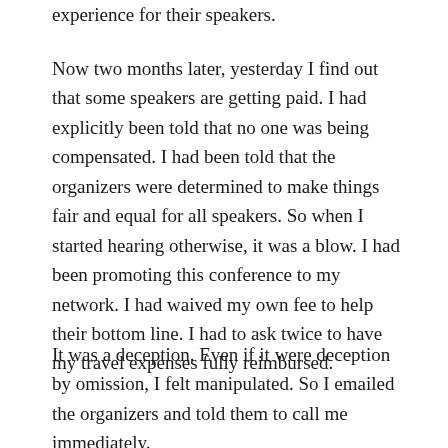experience for their speakers.
Now two months later, yesterday I find out that some speakers are getting paid. I had explicitly been told that no one was being compensated. I had been told that the organizers were determined to make things fair and equal for all speakers. So when I started hearing otherwise, it was a blow. I had been promoting this conference to my network. I had waived my own fee to help their bottom line. I had to ask twice to have my travel expenses fully reimbursed.
It was a deception. Even if it were deception by omission, I felt manipulated. So I emailed the organizers and told them to call me immediately.